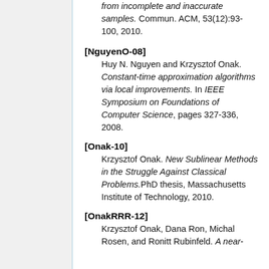from incomplete and inaccurate samples. Commun. ACM, 53(12):93-100, 2010.
[NguyenO-08] Huy N. Nguyen and Krzysztof Onak. Constant-time approximation algorithms via local improvements. In IEEE Symposium on Foundations of Computer Science, pages 327-336, 2008.
[Onak-10] Krzysztof Onak. New Sublinear Methods in the Struggle Against Classical Problems. PhD thesis, Massachusetts Institute of Technology, 2010.
[OnakRRR-12] Krzysztof Onak, Dana Ron, Michal Rosen, and Ronitt Rubinfeld. A near-